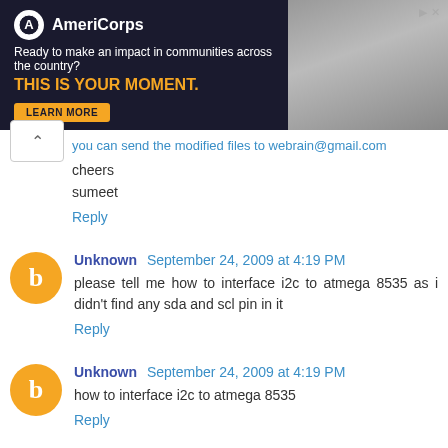[Figure (screenshot): AmeriCorps advertisement banner: dark navy background with AmeriCorps logo, tagline 'Ready to make an impact in communities across the country?', headline 'THIS IS YOUR MOMENT.' in orange/yellow, a LEARN MORE button, and a photo of people on the right side.]
you can send the modified files to webrain@gmail.com
cheers
sumeet
Reply
Unknown  September 24, 2009 at 4:19 PM
please tell me how to interface i2c to atmega 8535 as i didn't find any sda and scl pin in it
Reply
Unknown  September 24, 2009 at 4:19 PM
how to interface i2c to atmega 8535
Reply